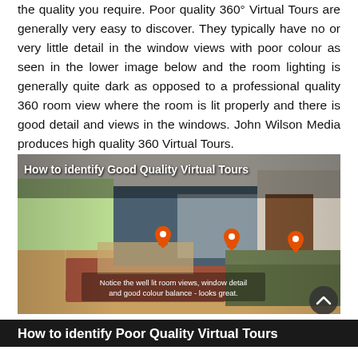the quality you require. Poor quality 360° Virtual Tours are generally very easy to discover. They typically have no or very little detail in the window views with poor colour as seen in the lower image below and the room lighting is generally quite dark as opposed to a professional quality 360 room view where the room is lit properly and there is good detail and views in the windows. John Wilson Media produces high quality 360 Virtual Tours.
[Figure (photo): A bright, well-lit living room panoramic photo with title overlay 'How to identify Good Quality Virtual Tours', orange location pin markers, and caption 'Notice the well lit room views, window detail and good colour balance - looks great.']
How to identify Poor Quality Virtual Tours